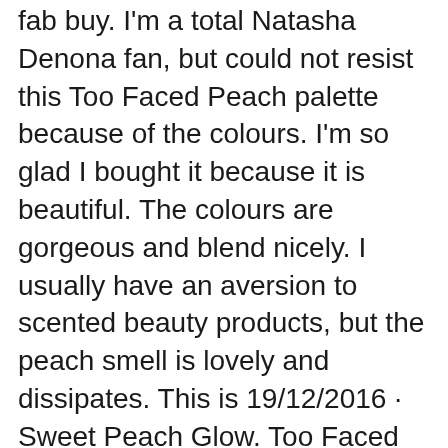fab buy. I'm a total Natasha Denona fan, but could not resist this Too Faced Peach palette because of the colours. I'm so glad I bought it because it is beautiful. The colours are gorgeous and blend nicely. I usually have an aversion to scented beauty products, but the peach smell is lovely and dissipates. This is 19/12/2016 · Sweet Peach Glow. Too Faced Sweet Peach Glow Palette ($42.00 for 0.39 oz.) contains a highlighter, blush, and bronzer. The blush contains more product (almost double) compared to the highlighter and bronzing shade.
19/12/2016 · Sweet Peach Glow. Too Faced Sweet Peach Glow Palette